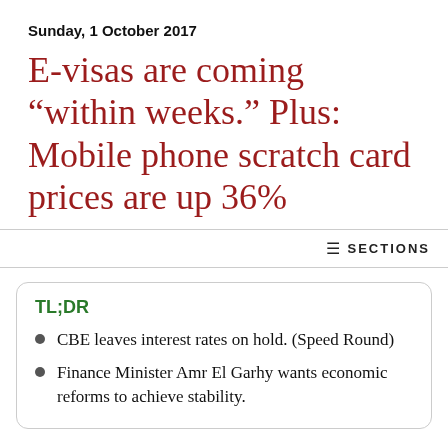Sunday, 1 October 2017
E-visas are coming “within weeks.” Plus: Mobile phone scratch card prices are up 36%
☰ SECTIONS
TL;DR
CBE leaves interest rates on hold. (Speed Round)
Finance Minister Amr El Garhy wants economic reforms to achieve stability.